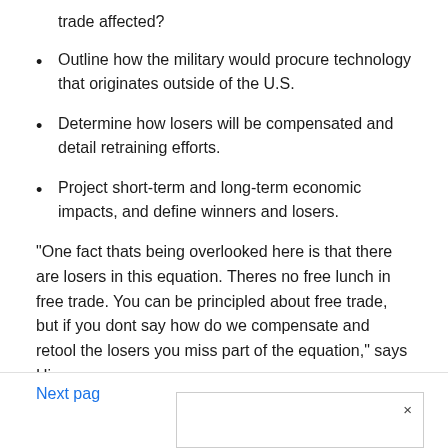trade affected?
Outline how the military would procure technology that originates outside of the U.S.
Determine how losers will be compensated and detail retraining efforts.
Project short-term and long-term economic impacts, and define winners and losers.
“One fact thats being overlooked here is that there are losers in this equation. Theres no free lunch in free trade. You can be principled about free trade, but if you dont say how do we compensate and retool the losers you miss part of the equation,” says Hira.
Next page